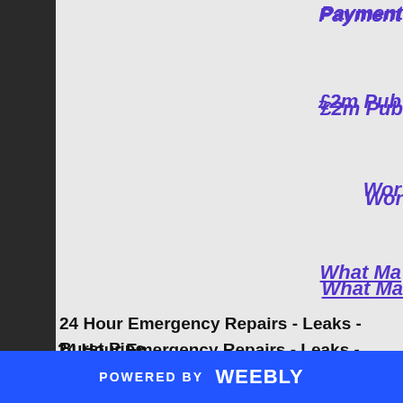Payment
£2m Pub
Wor
What Ma
24 Hour Emergency Repairs - Leaks - Burst Pipe Dishwashers -Basins - Toilets - Baths - Showers - T Outside Taps - Central Heating Repairs - Boilers - Flushing - All general Plumbing.
Call for 24
POWERED BY weebly